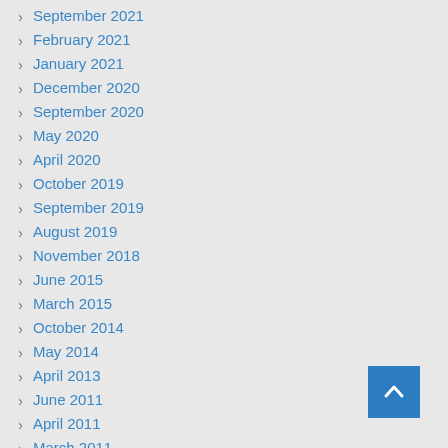September 2021
February 2021
January 2021
December 2020
September 2020
May 2020
April 2020
October 2019
September 2019
August 2019
November 2018
June 2015
March 2015
October 2014
May 2014
April 2013
June 2011
April 2011
March 2011
November 2010